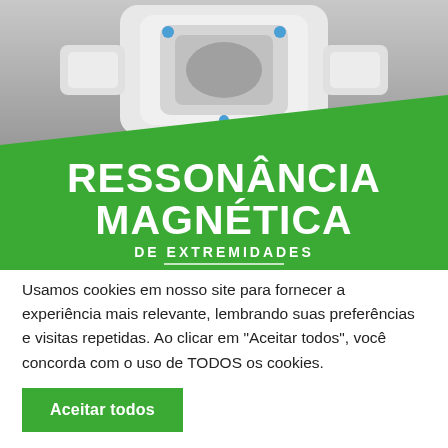[Figure (photo): MRI extremity scanner machine photographed from above on a grey surface, with a green diagonal overlay containing text 'RESSONÂNCIA MAGNÉTICA DE EXTREMIDADES']
Usamos cookies em nosso site para fornecer a experiência mais relevante, lembrando suas preferências e visitas repetidas. Ao clicar em "Aceitar todos", você concorda com o uso de TODOS os cookies.
Aceitar todos